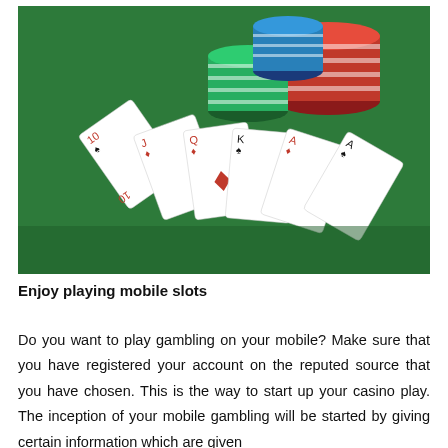[Figure (photo): Casino chips stacked on a green felt table with playing cards fanned out in the foreground. Red, black, and green poker chips are visible, along with face-down and face-up playing cards showing suits and numbers.]
Enjoy playing mobile slots
Do you want to play gambling on your mobile? Make sure that you have registered your account on the reputed source that you have chosen. This is the way to start up your casino play. The inception of your mobile gambling will be started by giving certain information which are given